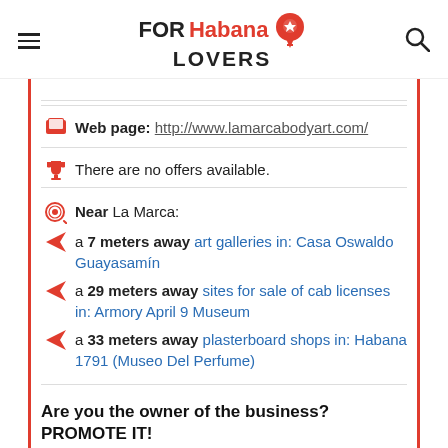FOR Habana LOVERS
Web page: http://www.lamarcabodyart.com/
There are no offers available.
Near La Marca:
a 7 meters away art galleries in: Casa Oswaldo Guayasamín
a 29 meters away sites for sale of cab licenses in: Armory April 9 Museum
a 33 meters away plasterboard shops in: Habana 1791 (Museo Del Perfume)
Are you the owner of the business? PROMOTE IT!